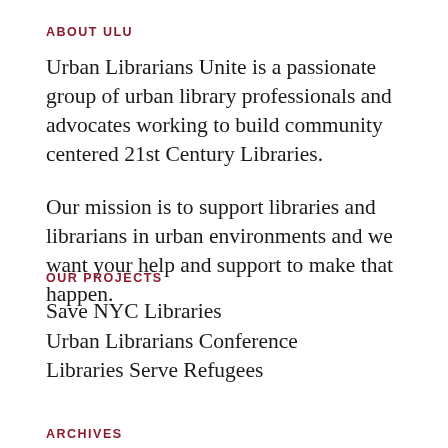ABOUT ULU
Urban Librarians Unite is a passionate group of urban library professionals and advocates working to build community centered 21st Century Libraries.
Our mission is to support libraries and librarians in urban environments and we want your help and support to make that happen.
OUR PROJECTS
Save NYC Libraries
Urban Librarians Conference
Libraries Serve Refugees
ARCHIVES